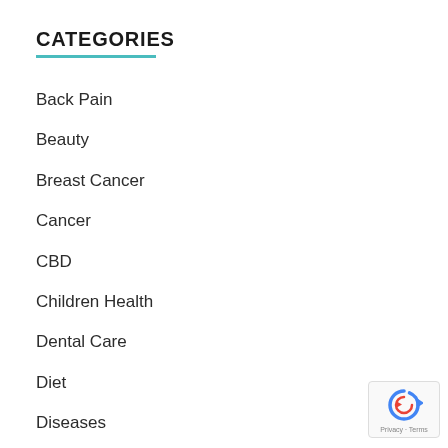CATEGORIES
Back Pain
Beauty
Breast Cancer
Cancer
CBD
Children Health
Dental Care
Diet
Diseases
Drug
Education
[Figure (logo): reCAPTCHA badge with Privacy and Terms text]